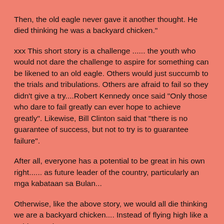Then, the old eagle never gave it another thought. He died thinking he was a backyard chicken."
xxx This short story is a challenge ...... the youth who would not dare the challenge to aspire for something can be likened to an old eagle. Others would just succumb to the trials and tribulations. Others are afraid to fail so they didn't give a try....Robert Kennedy once said “Only those who dare to fail greatly can ever hope to achieve greatly”. Likewise, Bill Clinton said that “there is no guarantee of success, but not to try is to guarantee failure”.
After all, everyone has a potential to be great in his own right...... as future leader of the country, particularly an mga kabataan sa Bulan...
Otherwise, like the above story, we would all die thinking we are a backyard chicken.... Instead of flying high like a golden eagle...
MAY PAG-ASA ANG BAYAN (BULAN).... Ito ang ating